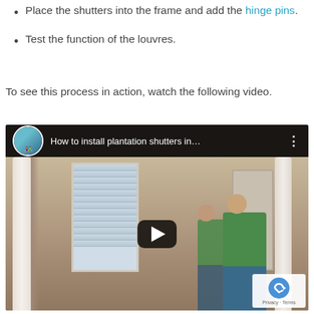Screw the shutter frame into the window opening.
Place the shutters into the frame and add the hinge pins.
Test the function of the louvres.
To see this process in action, watch the following video.
[Figure (screenshot): Embedded YouTube video thumbnail showing two men in green shirts discussing plantation shutter installation. The video title bar reads 'How to install plantation shutters in...' with a play button overlay.]